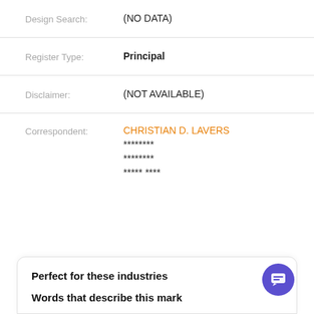Design Search: (NO DATA)
Register Type: Principal
Disclaimer: (NOT AVAILABLE)
Correspondent: CHRISTIAN D. LAVERS
********
********
***** ****
Perfect for these industries
Words that describe this mark